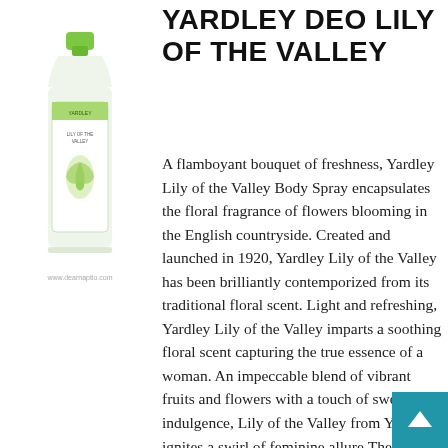[Figure (photo): Yardley Deo Lily of the Valley body spray bottle with green cap and white label, shown with a watermark www.dearnaptio.com below]
YARDLEY DEO LILY OF THE VALLEY
A flamboyant bouquet of freshness, Yardley Lily of the Valley Body Spray encapsulates the floral fragrance of flowers blooming in the English countryside. Created and launched in 1920, Yardley Lily of the Valley has been brilliantly contemporized from its traditional floral scent. Light and refreshing, Yardley Lily of the Valley imparts a soothing floral scent capturing the true essence of a woman. An impeccable blend of vibrant fruits and flowers with a touch of sweet indulgence, Lily of the Valley from Yardley ignites a swirl of feminine allure.The opening note is fresh and rejuvenating with a dash of citrus accords. At its heart lies spring flowers like lily, jasmine, geranium and magnolia